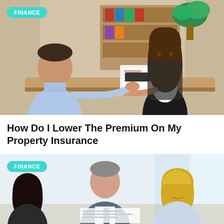[Figure (photo): Office scene: a man in a light blue shirt sits across a desk from a woman in a black blazer who is pointing at documents on the desk. Bookshelves and a plant are in the background. A teal 'FINANCE' badge is overlaid in the top-left corner.]
How Do I Lower The Premium On My Property Insurance
[Figure (photo): Office meeting scene: three professionals (a dark-haired woman on left, a middle-aged man in center, and a blonde woman on right) looking at documents together. A teal 'FINANCE' badge is overlaid in the top-left corner.]